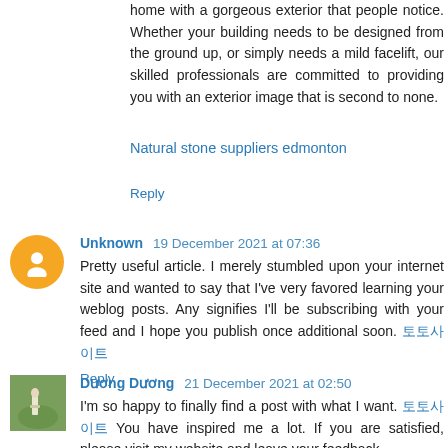home with a gorgeous exterior that people notice. Whether your building needs to be designed from the ground up, or simply needs a mild facelift, our skilled professionals are committed to providing you with an exterior image that is second to none.
Natural stone suppliers edmonton
Reply
Unknown  19 December 2021 at 07:36
Pretty useful article. I merely stumbled upon your internet site and wanted to say that I've very favored learning your weblog posts. Any signifies I'll be subscribing with your feed and I hope you publish once additional soon. 토토사이트
Reply
Dương Dương  21 December 2021 at 02:50
I'm so happy to finally find a post with what I want. 토토사이트 You have inspired me a lot. If you are satisfied, please visit my website and leave your feedback.